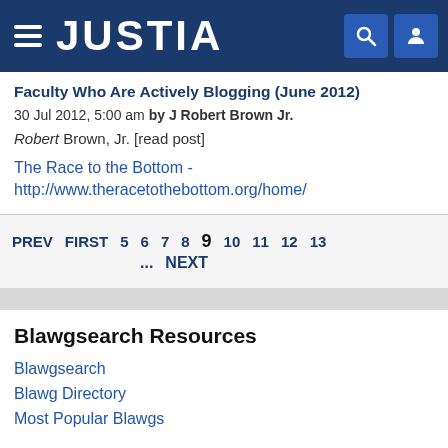JUSTIA
Faculty Who Are Actively Blogging (June 2012)
30 Jul 2012, 5:00 am by J Robert Brown Jr.
Robert Brown, Jr. [read post]
The Race to the Bottom - http://www.theracetothebottom.org/home/
PREV FIRST 5 6 7 8 9 10 11 12 13 ... NEXT
Blawgsearch Resources
Blawgsearch
Blawg Directory
Most Popular Blawgs